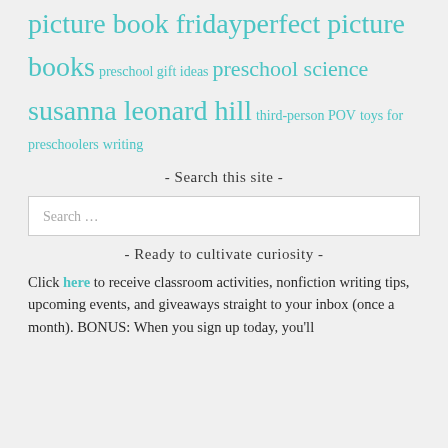picture book friday perfect picture books preschool gift ideas preschool science susanna leonard hill third-person POV toys for preschoolers writing
- Search this site -
Search …
- Ready to cultivate curiosity -
Click here to receive classroom activities, nonfiction writing tips, upcoming events, and giveaways straight to your inbox (once a month). BONUS: When you sign up today, you'll